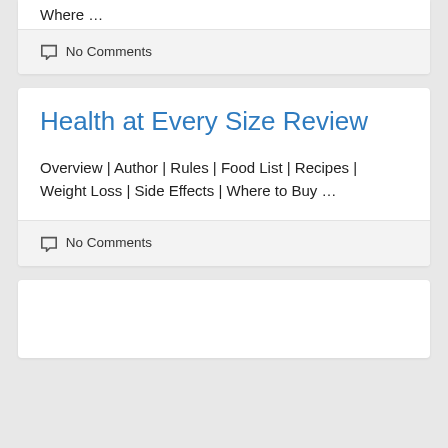Where …
No Comments
Health at Every Size Review
Overview | Author | Rules | Food List | Recipes | Weight Loss | Side Effects | Where to Buy …
No Comments